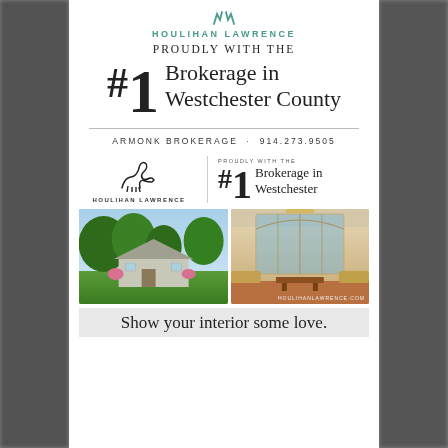[Figure (logo): Houlihan Lawrence horse logo and brand name at top]
PROUDLY WITH THE
#1 Brokerage in Westchester County
ARMONK BROKERAGE · 914.273.9505
[Figure (logo): Houlihan Lawrence horse and name logo with #1 Brokerage in Westchester claim]
[Figure (photo): Two house photos side by side: exterior with trees and interior living room]
HOULIHANLAWRENCE.COM
Show your interior some love.